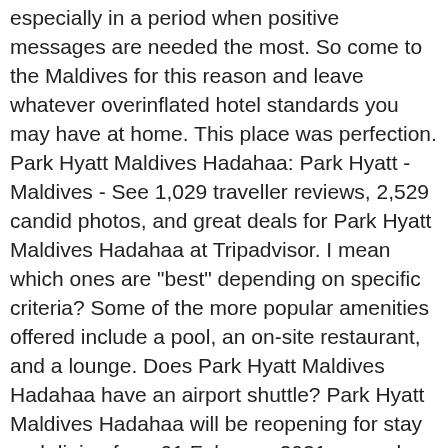especially in a period when positive messages are needed the most. So come to the Maldives for this reason and leave whatever overinflated hotel standards you may have at home. This place was perfection. Park Hyatt Maldives Hadahaa: Park Hyatt - Maldives - See 1,029 traveller reviews, 2,529 candid photos, and great deals for Park Hyatt Maldives Hadahaa at Tripadvisor. I mean which ones are "best" depending on specific criteria? Some of the more popular amenities offered include a pool, an on-site restaurant, and a lounge. Does Park Hyatt Maldives Hadahaa have an airport shuttle? Park Hyatt Maldives Hadahaa will be reopening for stay and dining from 01 February 2021 onwards. Maldives Tourism Maldives Hotels Maldives Bed and Breakfast Maldives Holiday Rentals Maldives Holiday Packages Flights to Maldives Maldives Restaurants Maldives Attractions Maldives Travel Forum Maldives Photos Maldives … We hired a boat for dolphins watching which was wonderful. Whether nestled within the island's tropical greenery or elevated above the water, our villas are steps away from an idyllic beachfront, giving you